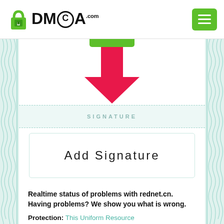[Figure (logo): DMCA.com logo with padlock icon and green menu button]
[Figure (illustration): Red downward-pointing arrow on white certificate background with decorative green border pattern]
SIGNATURE
Add Signature
Realtime status of problems with rednet.cn. Having problems? We show you what is wrong.
Protection: This Uniform Resource